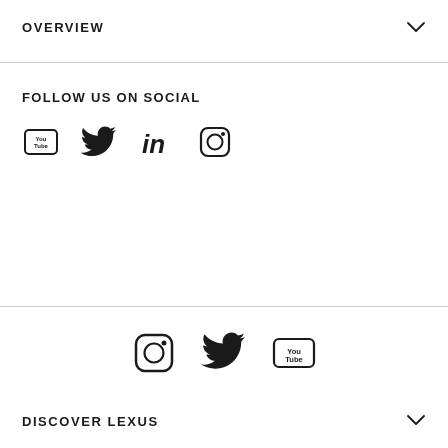OVERVIEW
FOLLOW US ON SOCIAL
[Figure (illustration): Social media icons row: YouTube, Twitter, LinkedIn, Instagram]
[Figure (illustration): Social media icons row: Instagram, Twitter, YouTube]
DISCOVER LEXUS